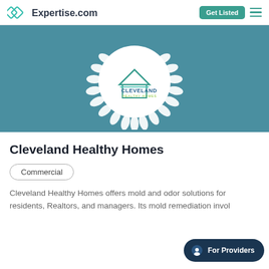Expertise.com | Get Listed
[Figure (logo): Cleveland Healthy Homes logo in a white circle with laurel wreath on a teal background, shown as an award badge]
Cleveland Healthy Homes
Commercial
Cleveland Healthy Homes offers mold and odor solutions for residents, Realtors, and managers. Its mold remediation invol...